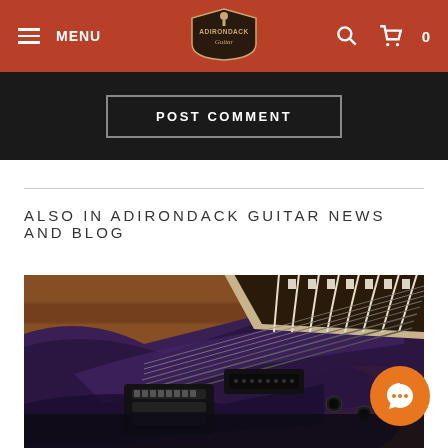MENU | Adirondack Guitar | Search | Cart 0
POST COMMENT
ALSO IN ADIRONDACK GUITAR NEWS AND BLOG
[Figure (photo): Close-up photo of an 8-string electric guitar with a purple/black chameleon finish body and a maple fretboard with white fret markers, resting on a wooden surface.]